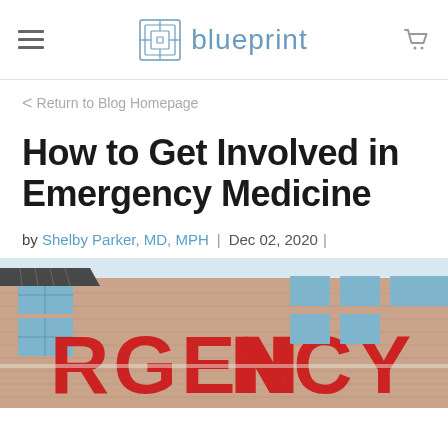blueprint
< Return to Blog Homepage
How to Get Involved in Emergency Medicine
by Shelby Parker, MD, MPH | Dec 02, 2020 |
[Figure (photo): Photo of a hospital building exterior with red letters spelling EMERGENCY visible on the facade, brick walls and blue glass windows visible]